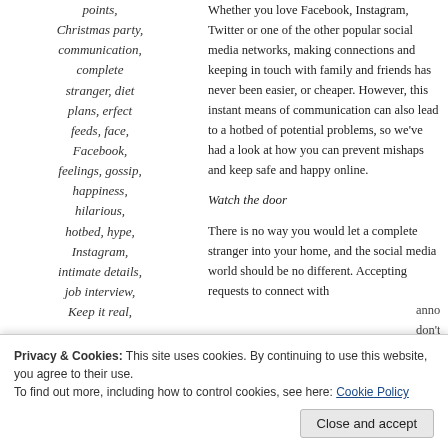points, Christmas party, communication, complete stranger, diet plans, erfect feeds, face, Facebook, feelings, gossip, happiness, hilarious, hotbed, hype, Instagram, intimate details, job interview, Keep it real, advice, news,
Whether you love Facebook, Instagram, Twitter or one of the other popular social media networks, making connections and keeping in touch with family and friends has never been easier, or cheaper. However, this instant means of communication can also lead to a hotbed of potential problems, so we've had a look at how you can prevent mishaps and keep safe and happy online.
Watch the door
There is no way you would let a complete stranger into your home, and the social media world should be no different. Accepting requests to connect with
annoying requests to your friends too. If you don't
Privacy & Cookies: This site uses cookies. By continuing to use this website, you agree to their use.
To find out more, including how to control cookies, see here: Cookie Policy